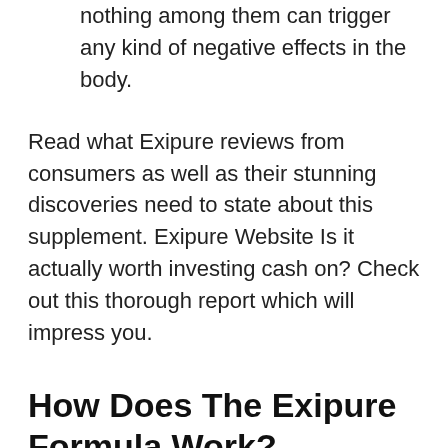nothing among them can trigger any kind of negative effects in the body.
Read what Exipure reviews from consumers as well as their stunning discoveries need to state about this supplement. Exipure Website Is it actually worth investing cash on? Check out this thorough report which will impress you.
How Does The Exipure Formula Work?
Getting weight has come to be a lot easier as a result of the changed way of living and also dietary routines. Not simply grownups, however younger